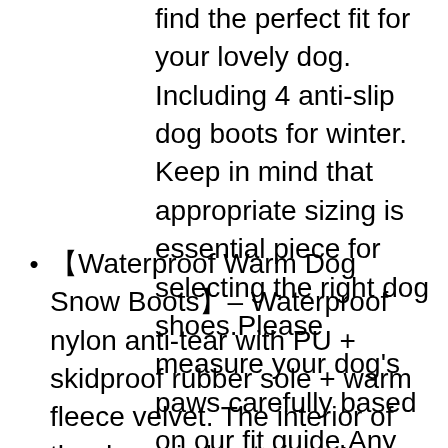find the perfect fit for your lovely dog. Including 4 anti-slip dog boots for winter. Keep in mind that appropriate sizing is essential piece for selecting the right dog shoes.Please measure your dog's paws carefully based on our fit guide.Any size problems, please contact us to help sort it out.
【Waterproof Warm Dog Snow Boots】– Waterproof nylon anti-tear with PU + skidproof rubber sole + warm fleece velvet. The interior of the dog rain boots is velvet more suitable for winter wear, to keep the dog's feet warm. High-quality rubber soles and upper of soft waterproof material give the dog's paws soft care, Suitable for various indoor and outdoor activities and